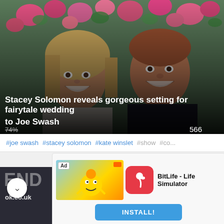[Figure (photo): Photo of Stacey Solomon and Joe Swash smiling together in front of pink flowers and green foliage backdrop]
Stacey Solomon reveals gorgeous setting for fairytale wedding to Joe Swash
74% 566
#joe swash  #stacey solomon  #kate winslet  #show  #co...
[Figure (photo): Partial photo with ok.co.uk watermark and SKY logo, dated 26.05.2022 / 22:23, showing top of person's head with dark hair]
[Figure (other): Advertisement for BitLife - Life Simulator app showing ad image with cartoon character, BitLife app icon (red with sperm symbol), and INSTALL! button]